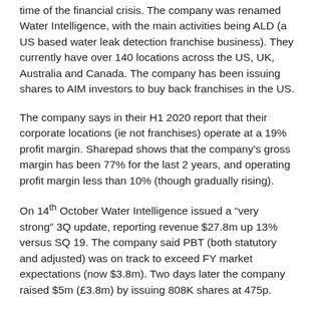time of the financial crisis. The company was renamed Water Intelligence, with the main activities being ALD (a US based water leak detection franchise business). They currently have over 140 locations across the US, UK, Australia and Canada. The company has been issuing shares to AIM investors to buy back franchises in the US.
The company says in their H1 2020 report that their corporate locations (ie not franchises) operate at a 19% profit margin. Sharepad shows that the company's gross margin has been 77% for the last 2 years, and operating profit margin less than 10% (though gradually rising).
On 14th October Water Intelligence issued a “very strong” 3Q update, reporting revenue $27.8m up 13% versus SQ 19. The company said PBT (both statutory and adjusted) was on track to exceed FY market expectations (now $3.8m). Two days later the company raised $5m (£3.8m) by issuing 808K shares at 475p.
Following the fund raising there will be 17.6m shares outstanding, of which 15.4m are ordinary shares trading on AIM and 2.2m are B shares held by management (voting, but